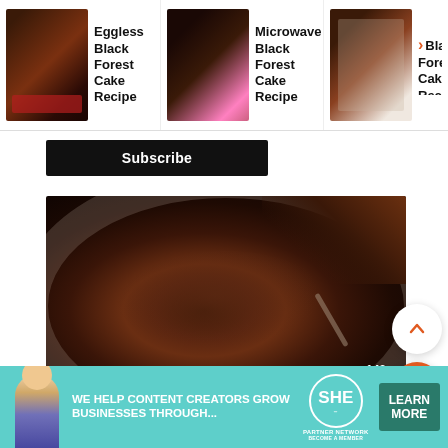[Figure (screenshot): Related recipe thumbnails bar showing: 'Eggless Black Forest Cake Recipe', 'Microwave Black Forest Cake Recipe', and 'Black Forest Cake Reci...' with thumbnail images]
Eggless Black Forest Cake Recipe
Microwave Black Forest Cake Recipe
Black Forest Cake Reci
Subscribe
[Figure (photo): A glass bowl containing dark chocolate ganache or frosting being mixed with a spoon, viewed from above. The chocolate mixture is thick and swirled.]
143
Now for the frosting since chocolate...
[Figure (infographic): Advertisement banner: 'We Help Content Creators Grow Businesses Through...' with SHE Partner Network logo and 'Learn More' button in teal/green color scheme]